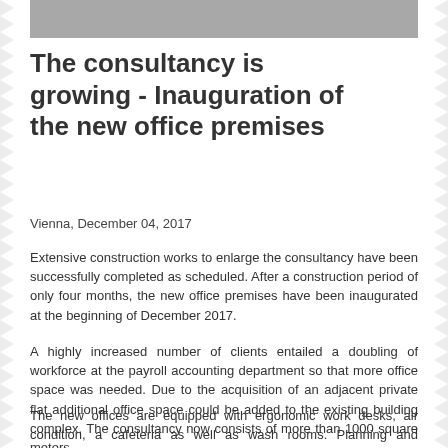[Figure (other): Gray header bar at top of page]
The consultancy is growing - Inauguration of the new office premises
Vienna, December 04, 2017
Extensive construction works to enlarge the consultancy have been successfully completed as scheduled. After a construction period of only four months, the new office premises have been inaugurated at the beginning of December 2017.
A highly increased number of clients entailed a doubling of workforce at the payroll accounting department so that more office space was needed. Due to the acquisition of an adjacent private flat additional office space could be added to the existing building complex. The consultancy now consists of more than 1000 square meters.
The new offices are equipped with ergonomic work desks, air condition, a cafeteria as well as wash rooms. Planning and execution responsibility were again in the hands of architect Claus Radler who was in charge of th... of the consultancy